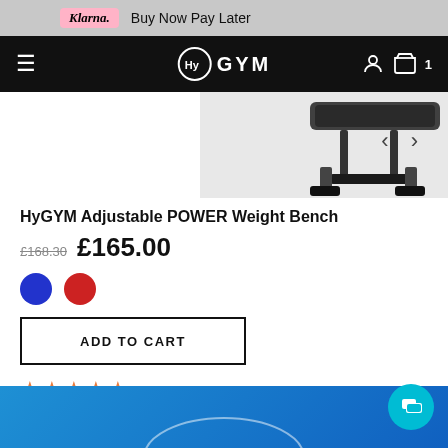Klarna. Buy Now Pay Later
HyGYM navigation bar with hamburger menu, logo, user icon, cart icon with badge 1
[Figure (photo): Partial product photo of HyGYM Adjustable POWER Weight Bench, showing bench frame and legs, with left/right navigation arrows]
HyGYM Adjustable POWER Weight Bench
£168.30 £165.00
[Figure (other): Two color swatches: blue and red circles]
ADD TO CART
[Figure (other): Five orange star rating icons]
[Figure (other): Blue banner at bottom of page with chat bubble icon (teal circle with chat icon)]